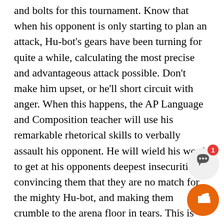and bolts for this tournament. Know that when his opponent is only starting to plan an attack, Hu-bot's gears have been turning for quite a while, calculating the most precise and advantageous attack possible. Don't make him upset, or he'll short circuit with anger. When this happens, the AP Language and Composition teacher will use his remarkable rhetorical skills to verbally assault his opponent. He will wield his words to get at his opponents deepest insecurities, convincing them that they are no match for the mighty Hu-bot, and making them crumble to the arena floor in tears. This is when he goes in for the win. His basketball career has continued throughout his life, having played against the likes of NBA legend LeBron James in grade school and wi Cathedral Prep legend Mr. Colwell in the faculty vs. CYO All-Stars game. These skills prove invaluable Don't mess with Hu-bot. His energy is electric, and
[Figure (other): Social media UI overlay: a circular comment bubble icon with a red badge showing '1', and a circular orange thumbs-up like button, positioned in the bottom-right corner of the page.]